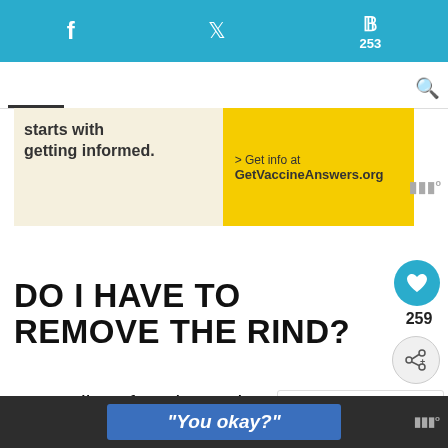f  Twitter  P 253
[Figure (screenshot): Advertisement banner: 'starts with getting informed.' on beige background, '> Get info at GetVaccineAnswers.org' on yellow background]
DO I HAVE TO REMOVE THE RIND?
It's totally safe to leave the rind and eat it. It really adds texture and fl
"You okay?"